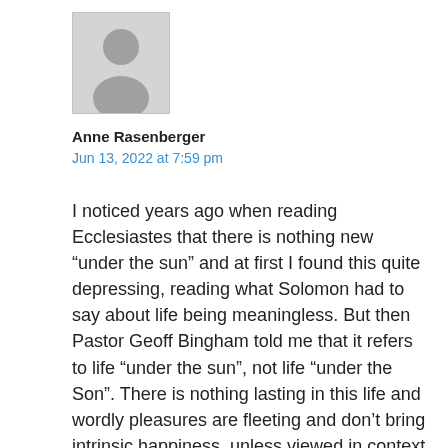[Figure (illustration): Generic user avatar placeholder image — grey silhouette of a person on a light grey background]
Anne Rasenberger
Jun 13, 2022 at 7:59 pm
I noticed years ago when reading Ecclesiastes that there is nothing new “under the sun” and at first I found this quite depressing, reading what Solomon had to say about life being meaningless. But then Pastor Geoff Bingham told me that it refers to life “under the sun”, not life “under the Son”. There is nothing lasting in this life and wordly pleasures are fleeting and don’t bring intrinsic happiness, unless viewed in context of eternal life and the call to share the Gospel of Jesus who took on human flesh and died in our place. Through Him we have a foretaste of heaven, but we also share